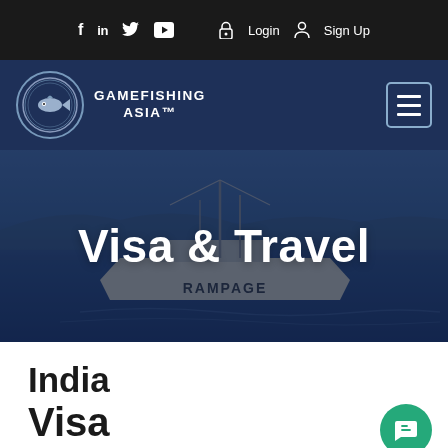f  in  (twitter)  (youtube)  Login  Sign Up
[Figure (logo): Gamefishing Asia logo with circular badge and text GAMEFISHING ASIA TM, dark navy navigation bar with hamburger menu icon]
[Figure (photo): Hero banner showing a fishing boat named RAMPAGE on blue water with dark blue overlay and large white bold text Visa & Travel]
Visa & Travel
India
Visa